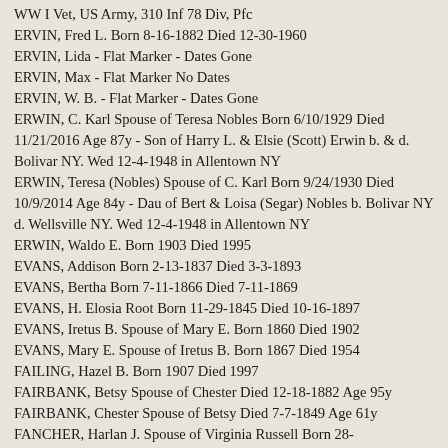WW I Vet, US Army, 310 Inf 78 Div, Pfc
ERVIN, Fred L. Born 8-16-1882 Died 12-30-1960
ERVIN, Lida - Flat Marker - Dates Gone
ERVIN, Max - Flat Marker No Dates
ERVIN, W. B. - Flat Marker - Dates Gone
ERWIN, C. Karl Spouse of Teresa Nobles Born 6/10/1929 Died 11/21/2016 Age 87y - Son of Harry L. & Elsie (Scott) Erwin b. & d. Bolivar NY. Wed 12-4-1948 in Allentown NY
ERWIN, Teresa (Nobles) Spouse of C. Karl Born 9/24/1930 Died 10/9/2014 Age 84y - Dau of Bert & Loisa (Segar) Nobles b. Bolivar NY d. Wellsville NY. Wed 12-4-1948 in Allentown NY
ERWIN, Waldo E. Born 1903 Died 1995
EVANS, Addison Born 2-13-1837 Died 3-3-1893
EVANS, Bertha Born 7-11-1866 Died 7-11-1869
EVANS, H. Elosia Root Born 11-29-1845 Died 10-16-1897
EVANS, Iretus B. Spouse of Mary E. Born 1860 Died 1902
EVANS, Mary E. Spouse of Iretus B. Born 1867 Died 1954
FAILING, Hazel B. Born 1907 Died 1997
FAIRBANK, Betsy Spouse of Chester Died 12-18-1882 Age 95y
FAIRBANK, Chester Spouse of Betsy Died 7-7-1849 Age 61y
FANCHER, Harlan J. Spouse of Virginia Russell Born 28-